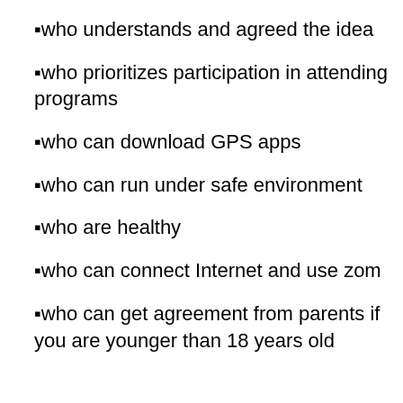▪who understands and agreed the idea
▪who prioritizes participation in attending programs
▪who can download GPS apps
▪who can run under safe environment
▪who are healthy
▪who can connect Internet and use zom
▪who can get agreement from parents if you are younger than 18 years old